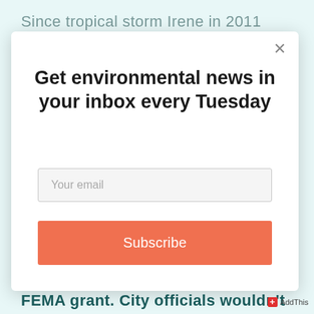Since tropical storm Irene in 2011
Get environmental news in your inbox every Tuesday
Your email
Subscribe
FEMA grant. City officials wouldn't